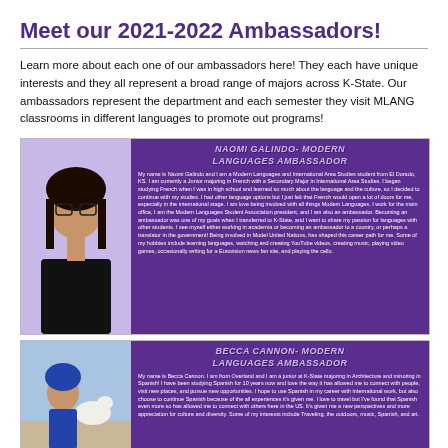Meet our 2021-2022 Ambassadors!
Learn more about each one of our ambassadors here! They each have unique interests and they all represent a broad range of majors across K-State. Our ambassadors represent the department and each semester they visit MLANG classrooms in different languages to promote out programs!
[Figure (photo): Profile card for Naomi Galindo, Modern Languages Ambassador. Purple background with photo of a young woman with glasses on the left and bio text on the right.]
[Figure (photo): Profile card for Becca Cannon, Modern Languages Ambassador. Purple background with photo of a person with a dog on the left and bio text on the right.]